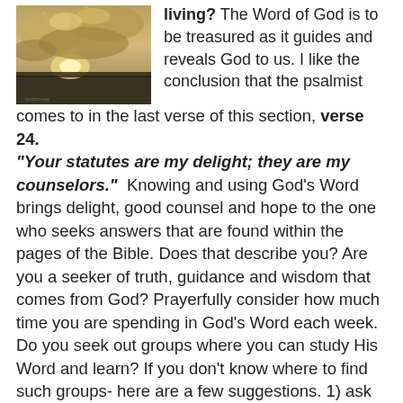[Figure (photo): A landscape photo showing a dramatic sky with sunbeams breaking through clouds over a dark horizon.]
living? The Word of God is to be treasured as it guides and reveals God to us. I like the conclusion that the psalmist comes to in the last verse of this section, verse 24. "Your statutes are my delight; they are my counselors." Knowing and using God's Word brings delight, good counsel and hope to the one who seeks answers that are found within the pages of the Bible. Does that describe you? Are you a seeker of truth, guidance and wisdom that comes from God? Prayerfully consider how much time you are spending in God's Word each week. Do you seek out groups where you can study His Word and learn? If you don't know where to find such groups- here are a few suggestions. 1) ask your pastor what is available at your own church. If you don't attend a church or your church does not have groups that